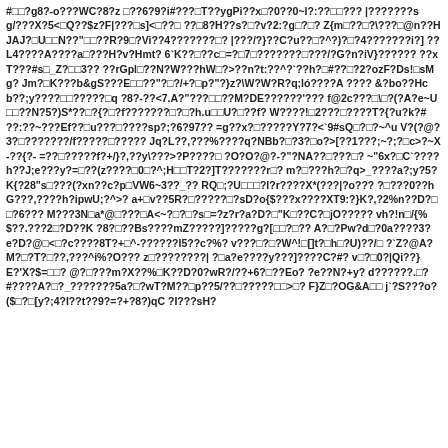#□□?g8?-o???WC?8?z □??6?9?i#???□T??ygPi??x□?0??0~l?:??□□??? |???????sg/???X?5<□Q??$z?F|???□s]<□??□ ??□8?H??s?□?v?2:?g□?□? Z{m□??□?\???□@n??HJAJ?□U□□N??"□□??R?9□?Vi??4???????□? |???/?}??C?u??□?^?)??□4???????i?] ??L4????A????a□???H?v?Hmt? 6`K??□??c□=?□7□???????□???/?G?n?iV}?????? ??xT???#s□_Z?□□3?? ??rGpl□??N?W???hW□?>??n?t:??^?`??h?□#??□?2?ozF?Ds!□sMg? Jm?□K???b&gS???E□□??"?□?/+?□p?"?}z?\W?W?R?q;Ió????A ???? &?bo??Hcb??;y????□□?????□q ?8?-??<7.A?"???□□??M?DE??????'??? f@2c???□\□?(? A?e~U□□??N?5?)S*??□?{?□?f???????□?□?h.u□□U?□??f? W????!□2???□????T?{?u?k?# ??:??~???Ef??□u???□????sp?;?6?97?? =g??x?□?????Y?7?<`9#sQ□?□?~^u V?(?@?3?□???????/f?????□?????  Jq?L??,???%????q?NBb?□?3?□o?>[??1???;~?;?□c>?~X-??{?- =??□?????f?+/}?,??y\???>?P????□ ?O?O?@?-?"?NA??□???□? ~"6x?□C`????h??J;e???y?=□??(z????□0□?^;H□□T?2?]T???????r□? m?□???h?□?q>_????a?;y?5?K{?28"s□???(?xn??c?p□VW6~3??_?? RQ□;?U□□□?I?r????X*(???|?o??? ?□???0??hG???,????h?ipwU;?^>? a+□v??5R?□?????□?sD?o{$???x????XT9:?}K?,?2%n??D?□□?6??? M???3N□a*@□???□A<~?□?□?s□=?z?r?a?D?□"K□??C?□jO????? vh?!n□/{%$??.???2□?D??K ?8?□??Bs????mZ?????]?????g?[□□?□?? A?□?Pw?d□?0a????3?e?D?@□<□?c????8T?+□^-??????I5??c?%? v???□?□?W^!□[]t?□h□?U)??/□ ?`Z?@A?M?□?T?□??,???^i%?O??? z□????????| ?□a?e????y???]????C?#? v□?□0?|Qi??}E?'X?$=□□? @?□???m?X??%□K??D?0?wR?/??+6?□??Eo? ?e??N?+y? d??????.□?#????A?□?_???????5a?□?wT?M??□p??5/??□?????□□>□? F}Z□?OG&A□□ j`?S???o?($□?□[y?;4?I??t??9?=?+?8?)qC ?I???sH?